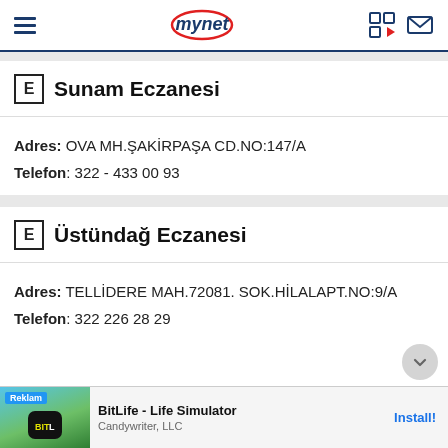mynet
E Sunam Eczanesi
Adres: OVA MH.ŞAKİRPAŞA CD.NO:147/A
Telefon: 322 - 433 00 93
E Üstündağ Eczanesi
Adres: TELLİDERE MAH.72081. SOK.HİLALAPT.NO:9/A
Telefon: 322 226 28 29
[Figure (screenshot): Advertisement banner for BitLife - Life Simulator by Candywriter, LLC with Install button]